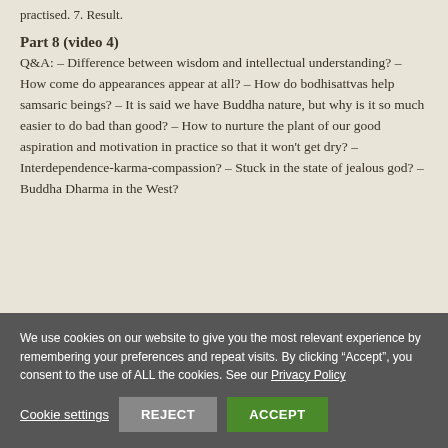practised. 7. Result.
Part 8 (video 4)
Q&A: – Difference between wisdom and intellectual understanding? – How come do appearances appear at all? – How do bodhisattvas help samsaric beings? – It is said we have Buddha nature, but why is it so much easier to do bad than good? – How to nurture the plant of our good aspiration and motivation in practice so that it won't get dry? – Interdependence-karma-compassion? – Stuck in the state of jealous god? – Buddha Dharma in the West?
We use cookies on our website to give you the most relevant experience by remembering your preferences and repeat visits. By clicking “Accept”, you consent to the use of ALL the cookies. See our Privacy Policy
Cookie settings  REJECT  ACCEPT